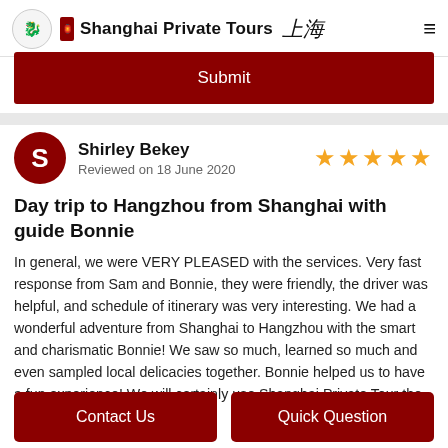Shanghai Private Tours
Submit
Shirley Bekey
Reviewed on 18 June 2020
★★★★★
Day trip to Hangzhou from Shanghai with guide Bonnie
In general, we were VERY PLEASED with the services. Very fast response from Sam and Bonnie, they were friendly, the driver was helpful, and schedule of itinerary was very interesting. We had a wonderful adventure from Shanghai to Hangzhou with the smart and charismatic Bonnie! We saw so much, learned so much and even sampled local delicacies together. Bonnie helped us to have a fun experience! We will certainly use Shanghai Private Tour the next time we come to China!
Contact Us
Quick Question